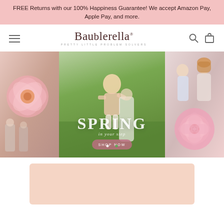FREE Returns with our 100% Happiness Guarantee! We accept Amazon Pay, Apple Pay, and more.
[Figure (logo): Baublerella brand logo with tagline 'PRETTY LITTLE PROBLEM SOLVERS']
[Figure (photo): Spring fashion hero banner with three panels: left panel showing pink flowers and women in white outfits, center panel with child running on grass with SPRING text overlay and SHOP NOW button, right panel showing two girls and pink peony flowers]
[Figure (photo): Partial view of a pink/peach promotional card at the bottom of the page]